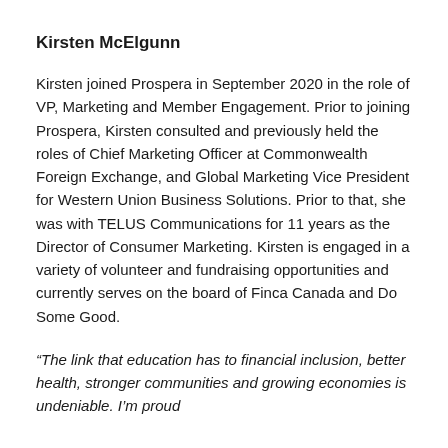Kirsten McElgunn
Kirsten joined Prospera in September 2020 in the role of VP, Marketing and Member Engagement. Prior to joining Prospera, Kirsten consulted and previously held the roles of Chief Marketing Officer at Commonwealth Foreign Exchange, and Global Marketing Vice President for Western Union Business Solutions. Prior to that, she was with TELUS Communications for 11 years as the Director of Consumer Marketing. Kirsten is engaged in a variety of volunteer and fundraising opportunities and currently serves on the board of Finca Canada and Do Some Good.
“The link that education has to financial inclusion, better health, stronger communities and growing economies is undeniable. I’m proud